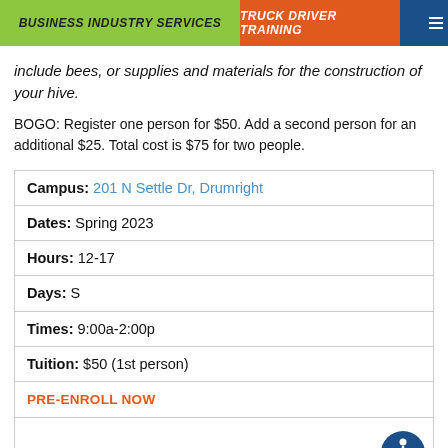BUSINESS INDUSTRY SERVICES | TRUCK DRIVER TRAINING
include bees, or supplies and materials for the construction of your hive.
BOGO: Register one person for $50. Add a second person for an additional $25. Total cost is $75 for two people.
| Campus: | 201 N Settle Dr, Drumright |
| Dates: | Spring 2023 |
| Hours: | 12-17 |
| Days: | S |
| Times: | 9:00a-2:00p |
| Tuition: | $50 (1st person) |
| PRE-ENROLL NOW |  |
|  |  |
| Campus: |  |